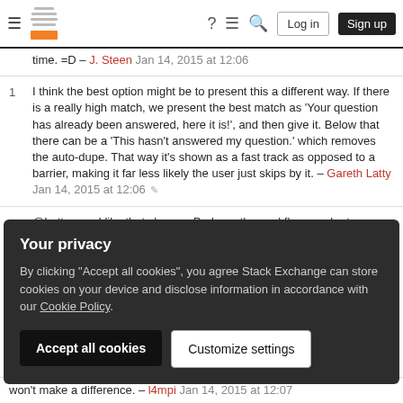Stack Exchange navigation header with hamburger menu, logo, help, chat, search icons, Log in and Sign up buttons
time. =D – J. Steen Jan 14, 2015 at 12:06
1  I think the best option might be to present this a different way. If there is a really high match, we present the best match as 'Your question has already been answered, here it is!', and then give it. Below that there can be a 'This hasn't answered my question.' which removes the auto-dupe. That way it's shown as a fast track as opposed to a barrier, making it far less likely the user just skips by it. – Gareth Latty Jan 14, 2015 at 12:06
@Lattyware I like that change. Perhaps the workflow can be to change the "ask my question" button to "We
Your privacy
By clicking "Accept all cookies", you agree Stack Exchange can store cookies on your device and disclose information in accordance with our Cookie Policy.
Accept all cookies
Customize settings
won't make a difference. – l4mpi Jan 14, 2015 at 12:07